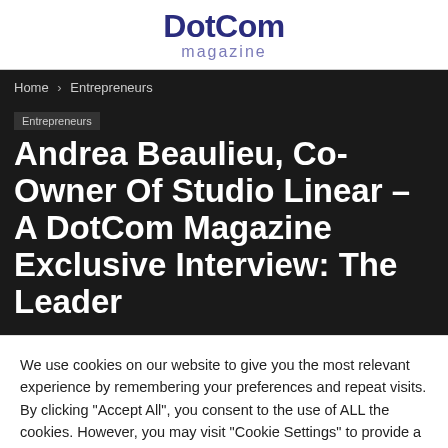DotCom magazine
Home › Entrepreneurs
Entrepreneurs
Andrea Beaulieu, Co-Owner Of Studio Linear – A DotCom Magazine Exclusive Interview: The Leader
We use cookies on our website to give you the most relevant experience by remembering your preferences and repeat visits. By clicking "Accept All", you consent to the use of ALL the cookies. However, you may visit "Cookie Settings" to provide a controlled consent.
Cookie Settings    OK, Got It!